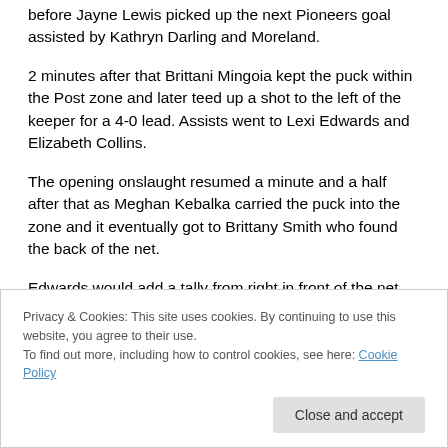before Jayne Lewis picked up the next Pioneers goal assisted by Kathryn Darling and Moreland.
2 minutes after that Brittani Mingoia kept the puck within the Post zone and later teed up a shot to the left of the keeper for a 4-0 lead. Assists went to Lexi Edwards and Elizabeth Collins.
The opening onslaught resumed a minute and a half after that as Meghan Kebalka carried the puck into the zone and it eventually got to Brittany Smith who found the back of the net.
Edwards would add a tally from right in front of the net two
Privacy & Cookies: This site uses cookies. By continuing to use this website, you agree to their use.
To find out more, including how to control cookies, see here: Cookie Policy
Close and accept